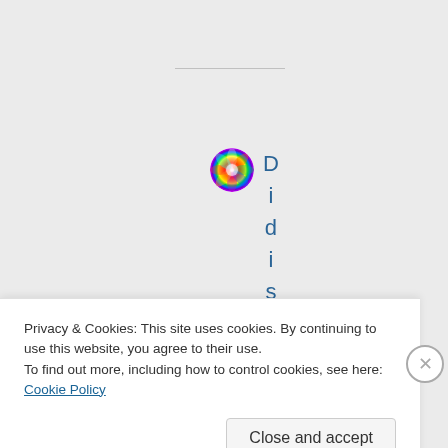[Figure (logo): Circular rainbow/colorful icon logo]
DidisArtDe
Privacy & Cookies: This site uses cookies. By continuing to use this website, you agree to their use.
To find out more, including how to control cookies, see here: Cookie Policy
Close and accept